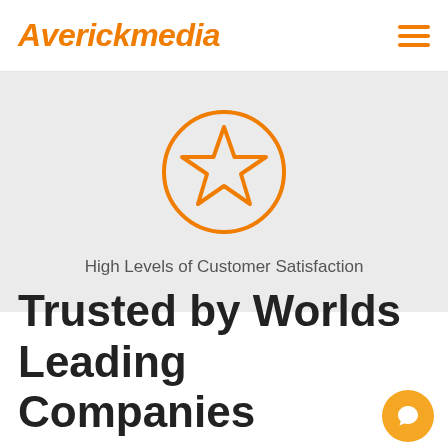Averickmedia
[Figure (illustration): Orange star icon inside an orange circle on a light gray background, representing high levels of customer satisfaction]
High Levels of Customer Satisfaction
Trusted by Worlds Leading Companies